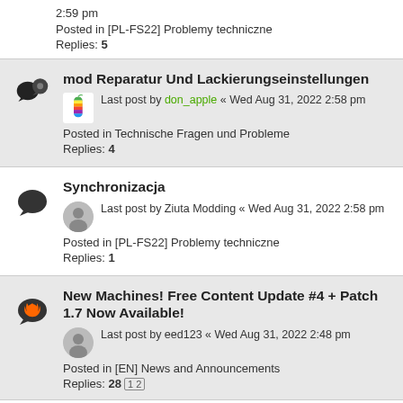2:59 pm
Posted in [PL-FS22] Problemy techniczne
Replies: 5
mod Reparatur Und Lackierungseinstellungen
Last post by don_apple « Wed Aug 31, 2022 2:58 pm
Posted in Technische Fragen und Probleme
Replies: 4
Synchronizacja
Last post by Ziuta Modding « Wed Aug 31, 2022 2:58 pm
Posted in [PL-FS22] Problemy techniczne
Replies: 1
New Machines! Free Content Update #4 + Patch 1.7 Now Available!
Last post by eed123 « Wed Aug 31, 2022 2:48 pm
Posted in [EN] News and Announcements
Replies: 28 1 2